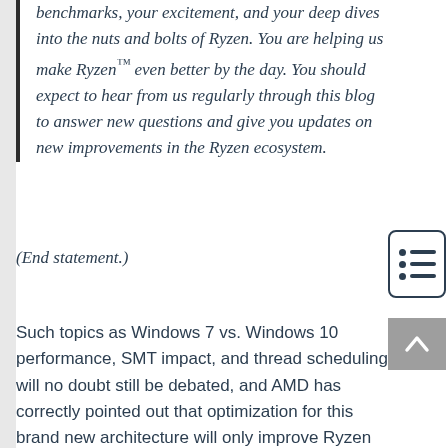benchmarks, your excitement, and your deep dives into the nuts and bolts of Ryzen. You are helping us make Ryzen™ even better by the day. You should expect to hear from us regularly through this blog to answer new questions and give you updates on new improvements in the Ryzen ecosystem.
(End statement.)
Such topics as Windows 7 vs. Windows 10 performance, SMT impact, and thread scheduling will no doubt still be debated, and AMD has correctly pointed out that optimization for this brand new architecture will only improve Ryzen